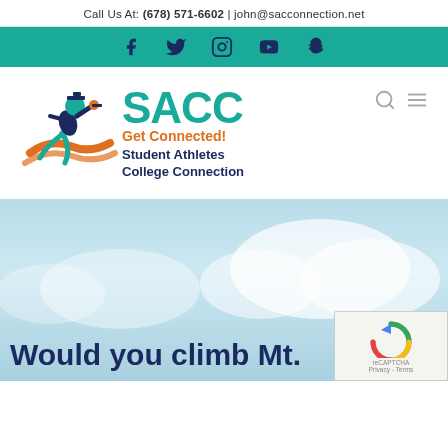Call Us At: (678) 571-6602 | john@sacconnection.net
[Figure (infographic): Social media icons bar (Facebook, Twitter, Instagram, YouTube, Snapchat) on teal background]
[Figure (logo): SACC Student Athletes College Connection logo — running athlete figure with graduation cap, teal SACC text, orange 'Get Connected!' tagline, navy 'Student Athletes College Connection' text]
Would you climb Mt.